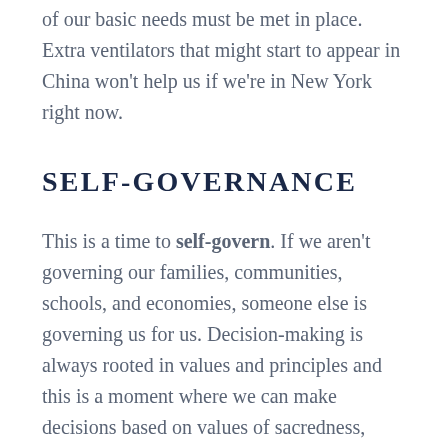of our basic needs must be met in place. Extra ventilators that might start to appear in China won't help us if we're in New York right now.
SELF-GOVERNANCE
This is a time to self-govern. If we aren't governing our families, communities, schools, and economies, someone else is governing us for us. Decision-making is always rooted in values and principles and this is a moment where we can make decisions based on values of sacredness, interdependence, abundance, and care. Many of us are taking back governance over our own time, the way our kids spend their hours, the way care work